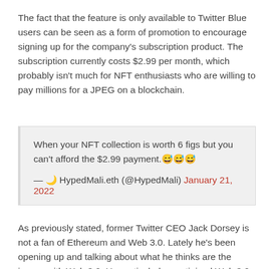The fact that the feature is only available to Twitter Blue users can be seen as a form of promotion to encourage signing up for the company's subscription product. The subscription currently costs $2.99 per month, which probably isn't much for NFT enthusiasts who are willing to pay millions for a JPEG on a blockchain.
When your NFT collection is worth 6 figs but you can't afford the $2.99 payment.😅😅😅
— 🌙 HypedMali.eth (@HypedMali) January 21, 2022
As previously stated, former Twitter CEO Jack Dorsey is not a fan of Ethereum and Web 3.0. Lately he's been opening up and talking about what he thinks are the issues with Web 3.0. He particularly scrutinized Web 3.0 projects saying that they are not